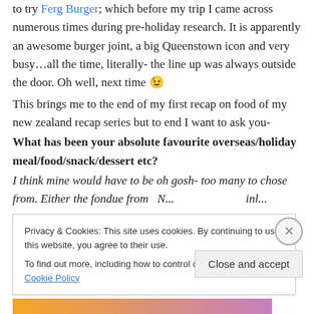to try Ferg Burger; which before my trip I came across numerous times during pre-holiday research. It is apparently an awesome burger joint, a big Queenstown icon and very busy…all the time, literally- the line up was always outside the door. Oh well, next time 😉
This brings me to the end of my first recap on food of my new zealand recap series but to end I want to ask you-
What has been your absolute favourite overseas/holiday meal/food/snack/dessert etc?
I think mine would have to be oh gosh- too many to chose
Privacy & Cookies: This site uses cookies. By continuing to use this website, you agree to their use.
To find out more, including how to control cookies, see here: Cookie Policy